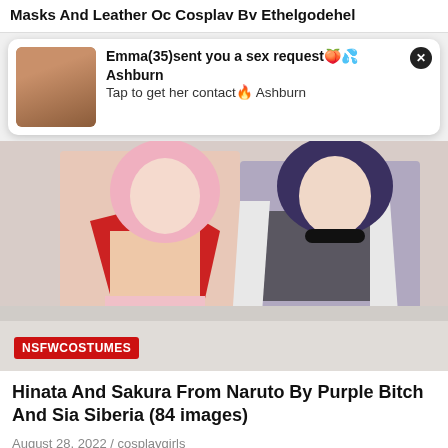Masks And Leather Oc Cosplay By Ethelgodehel
[Figure (photo): Advertisement popup with thumbnail image and text: Emma(35)sent you a sex request Ashburn Tap to get her contact Ashburn]
[Figure (photo): Two women in cosplay costumes (Sakura and Hinata from Naruto) sitting on a white couch, with NSFWCOSTUMES label overlay]
Hinata And Sakura From Naruto By Purple Bitch And Sia Siberia (84 images)
August 28, 2022 / cosplaygirls